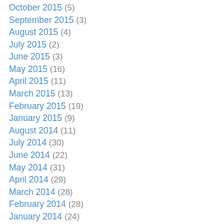October 2015 (5)
September 2015 (3)
August 2015 (4)
July 2015 (2)
June 2015 (3)
May 2015 (16)
April 2015 (11)
March 2015 (13)
February 2015 (19)
January 2015 (9)
August 2014 (11)
July 2014 (30)
June 2014 (22)
May 2014 (31)
April 2014 (29)
March 2014 (28)
February 2014 (28)
January 2014 (24)
December 2013 (27)
November 2013 (29)